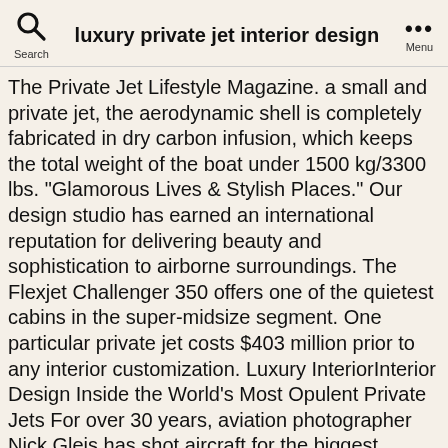Search  luxury private jet interior design  Menu
The Private Jet Lifestyle Magazine. a small and private jet, the aerodynamic shell is completely fabricated in dry carbon infusion, which keeps the total weight of the boat under 1500 kg/3300 lbs. "Glamorous Lives & Stylish Places." Our design studio has earned an international reputation for delivering beauty and sophistication to airborne surroundings. The Flexjet Challenger 350 offers one of the quietest cabins in the super-midsize segment. One particular private jet costs $403 million prior to any interior customization. Luxury InteriorInterior Design Inside the World's Most Opulent Private Jets For over 30 years, aviation photographer Nick Gleis has shot aircraft for the biggest aviation companies and the wealthiest of private clients. GIUSEPPINA ARENA - Architecture and Design, yachts, luxury residences private jet, yachts interiors, private jets, retail showrooms, architecture and interior design, Miami, Rome, textures, innovative materials, furniture and finishes, projects, research of the